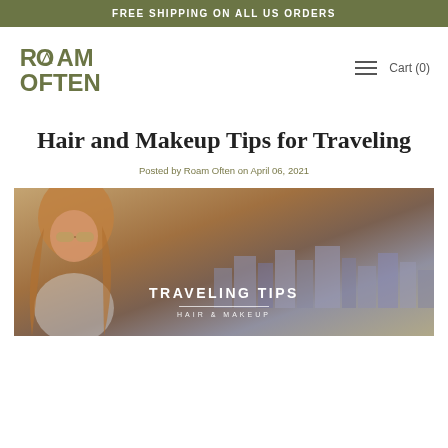FREE SHIPPING ON ALL US ORDERS
[Figure (logo): Roam Often logo with mountain/triangle icon, olive green text]
Cart (0)
Hair and Makeup Tips for Traveling
Posted by Roam Often on April 06, 2021
[Figure (photo): Young woman with sunglasses and long hair looking down, city skyline in background. Overlay text reads TRAVELING TIPS / HAIR & MAKEUP]